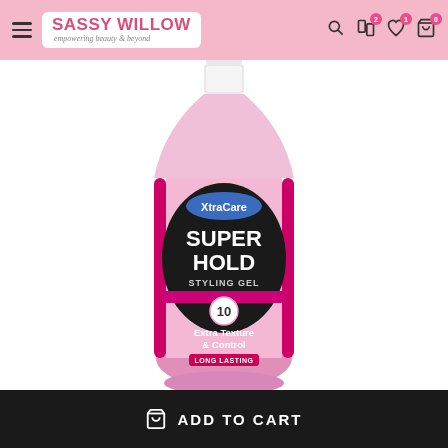SASSY WILLOW — empowering beauty & beyond
[Figure (photo): XtraCare Super Hold Styling Gel bottle — pink bottle with black label, number 10, Extra Texture & Control, Long Lasting]
ADD TO CART